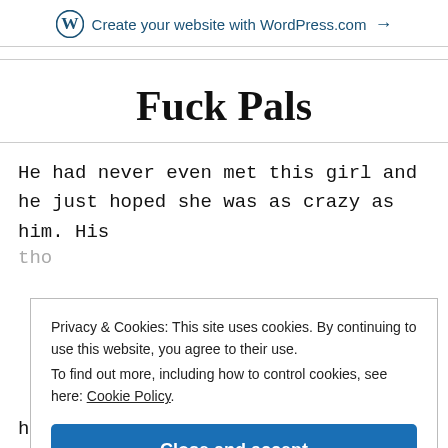Create your website with WordPress.com →
Fuck Pals
He had never even met this girl and he just hoped she was as crazy as him. His
Privacy & Cookies: This site uses cookies. By continuing to use this website, you agree to their use. To find out more, including how to control cookies, see here: Cookie Policy
Close and accept
house and began to take his clothes